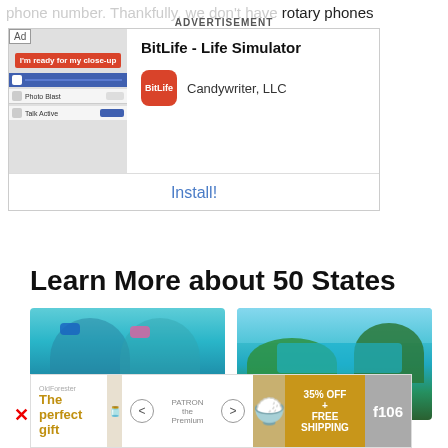phone number. Thankfully, we don't have rotary phones
[Figure (screenshot): Mobile advertisement for BitLife - Life Simulator by Candywriter, LLC with Install button. Shows Ad label, app screenshots on left, app icon and company name on right.]
Learn More about 50 States
[Figure (photo): Two people snorkeling underwater with colorful masks]
US Territories test 6 (long name)
[Figure (photo): Aerial view of US Virgin Islands tropical bay with turquoise water and green hills]
The US Virgin Islands
[Figure (screenshot): Bottom advertisement banner: The perfect gift, 35% OFF + FREE SHIPPING, f106 badge]